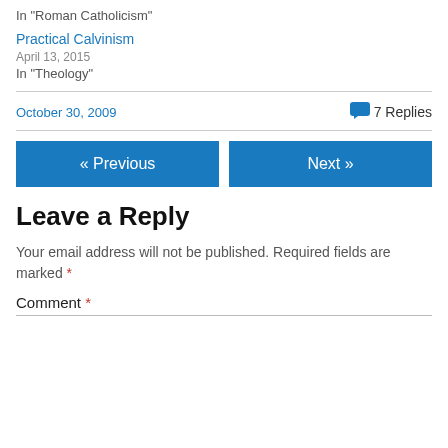In "Roman Catholicism"
Practical Calvinism
April 13, 2015
In "Theology"
October 30, 2009
7 Replies
« Previous
Next »
Leave a Reply
Your email address will not be published. Required fields are marked *
Comment *